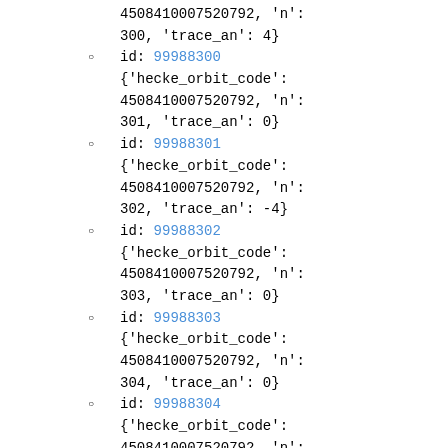4508410007520792, 'n': 300, 'trace_an': 4}
id: 99988300 {'hecke_orbit_code': 4508410007520792, 'n': 301, 'trace_an': 0}
id: 99988301 {'hecke_orbit_code': 4508410007520792, 'n': 302, 'trace_an': -4}
id: 99988302 {'hecke_orbit_code': 4508410007520792, 'n': 303, 'trace_an': 0}
id: 99988303 {'hecke_orbit_code': 4508410007520792, 'n': 304, 'trace_an': 0}
id: 99988304 {'hecke_orbit_code': 4508410007520792, 'n':